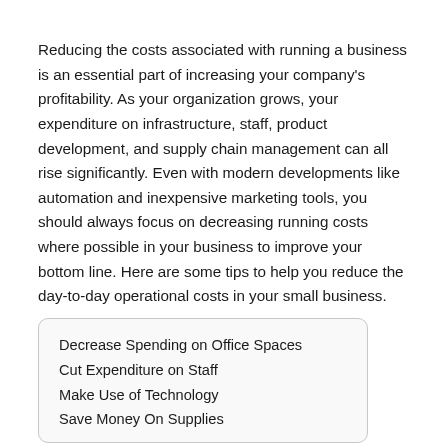Reducing the costs associated with running a business is an essential part of increasing your company's profitability. As your organization grows, your expenditure on infrastructure, staff, product development, and supply chain management can all rise significantly. Even with modern developments like automation and inexpensive marketing tools, you should always focus on decreasing running costs where possible in your business to improve your bottom line. Here are some tips to help you reduce the day-to-day operational costs in your small business.
Decrease Spending on Office Spaces
Cut Expenditure on Staff
Make Use of Technology
Save Money On Supplies